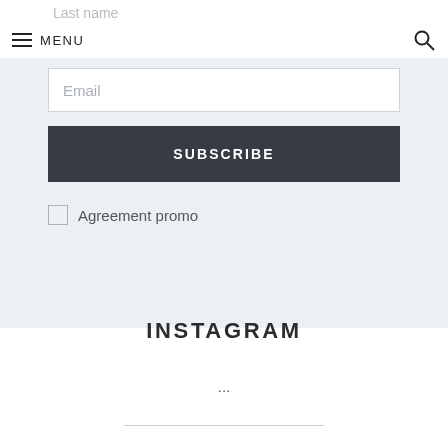Last name
MENU
Email
SUBSCRIBE
Agreement promo
INSTAGRAM
...